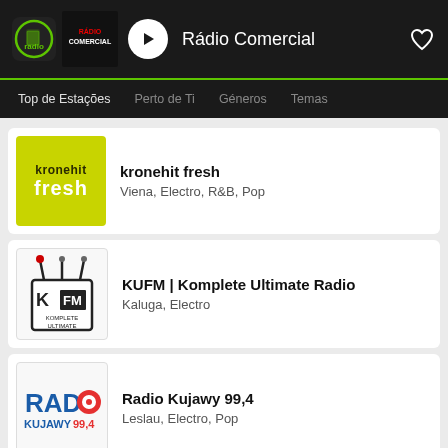Rádio Comercial
Top de Estações
Perto de Ti
Géneros
Temas
kronehit fresh
Viena, Electro, R&B, Pop
KUFM | Komplete Ultimate Radio
Kaluga, Electro
Radio Kujawy 99,4
Leslau, Electro, Pop
KUL-RADIO
Cascais, Techno, Trance, House, Electro